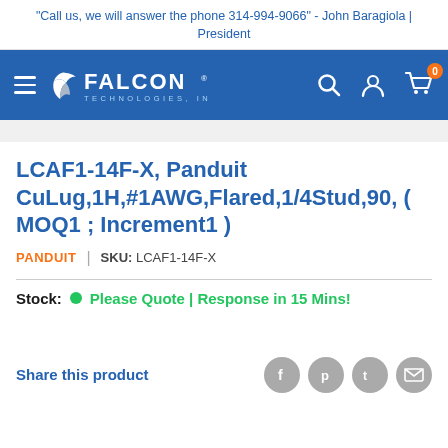"Call us, we will answer the phone 314-994-9066" - John Baragiola | President
[Figure (logo): Falcon Technologies Inc. logo and navigation bar with hamburger menu, search icon, account icon, and cart icon with badge showing 0]
LCAF1-14F-X, Panduit CuLug,1H,#1AWG,Flared,1/4Stud,90, ( MOQ1 ; Increment1 )
PANDUIT | SKU: LCAF1-14F-X
Stock: • Please Quote | Response in 15 Mins!
Share this product